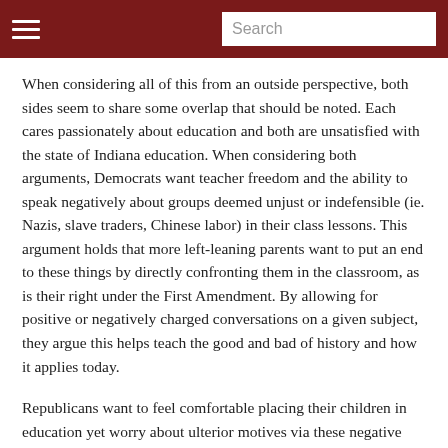Search
When considering all of this from an outside perspective, both sides seem to share some overlap that should be noted. Each cares passionately about education and both are unsatisfied with the state of Indiana education. When considering both arguments, Democrats want teacher freedom and the ability to speak negatively about groups deemed unjust or indefensible (ie. Nazis, slave traders, Chinese labor) in their class lessons. This argument holds that more left-leaning parents want to put an end to these things by directly confronting them in the classroom, as is their right under the First Amendment. By allowing for positive or negatively charged conversations on a given subject, they argue this helps teach the good and bad of history and how it applies today.
Republicans want to feel comfortable placing their children in education yet worry about ulterior motives via these negative